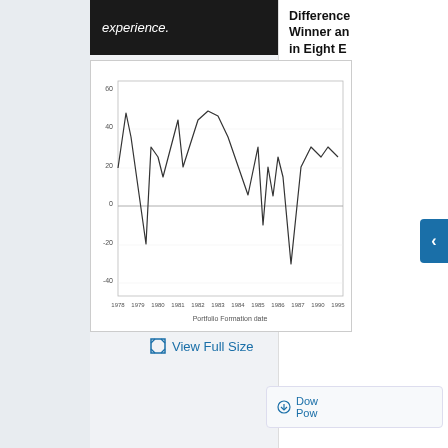experience.
Difference Winner and in Eight E
(Average a percent)
Citation: IM 003; 10.5089/97
Note: Thr return on return on both calcu average r emerging Brazil, Chi Korea, M
[Figure (continuous-plot): Line chart showing portfolio formation date on x-axis (1978–1995) and percentage values on y-axis (approximately -40 to 60). The line depicts volatile returns with peaks around 1979 (~55%), 1982 (~45%), and mid-1980s (~50%), with troughs around 1980 (-20%), 1988 (-10%), and 1991 (-30%).]
View Full Size
Dow Pow